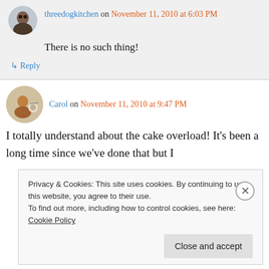threedogkitchen on November 11, 2010 at 6:03 PM
There is no such thing!
↳ Reply
Carol on November 11, 2010 at 9:47 PM
I totally understand about the cake overload! It's been a long time since we've done that but I
Privacy & Cookies: This site uses cookies. By continuing to use this website, you agree to their use. To find out more, including how to control cookies, see here: Cookie Policy
Close and accept